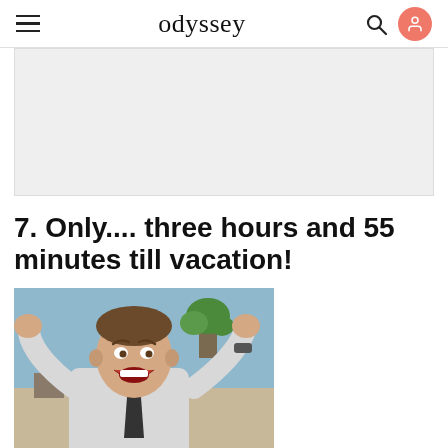odyssey
[Figure (other): Gray advertisement/banner placeholder rectangle]
7. Only.... three hours and 55 minutes till vacation!
[Figure (photo): A man with his hands raised in excitement, mouth open, laughing, wearing a white shirt and dark tie, indoor setting with plants in background]